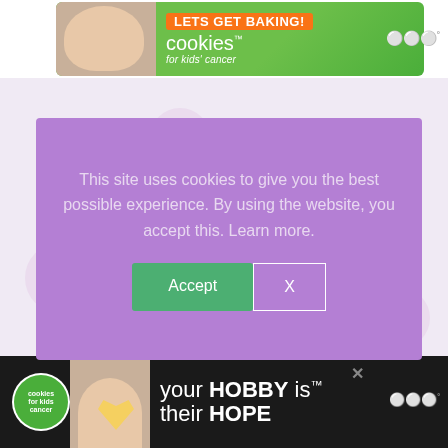[Figure (photo): Top advertisement banner for Cookies for Kids Cancer — 'LETS GET BAKING!' with cookies logo on green background, with Whisk Takers logo on right]
This site uses cookies to give you the best possible experience. By using the website, you accept this. Learn more.
[Figure (screenshot): Cookie consent popup with purple background, Accept and X buttons]
[Figure (photo): Knitting webpage showing text '(Projects that Send) in knitting.' with floral background pattern and a red yarn ball]
[Figure (photo): Bottom advertisement bar for Cookies for Kids Cancer — 'your HOBBY is their HOPE' on dark background with cookies logo and photo of hands holding heart cookie]